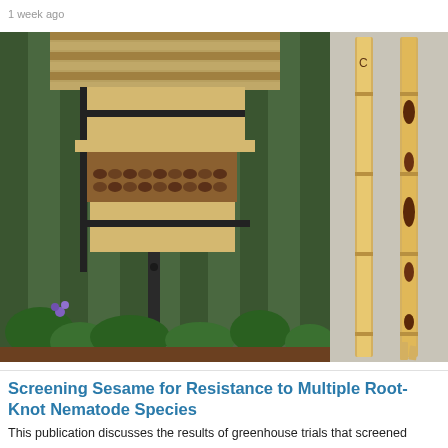1 week ago
[Figure (photo): Left: A wooden mason bee house mounted on a metal post in a garden, next to a wooden fence, with tubes for bees to nest in. Right: Two bamboo or reed tubes/sticks, one showing dark spotting or boring marks, suggesting parasitism or disease.]
Screening Sesame for Resistance to Multiple Root-Knot Nematode Species
This publication discusses the results of greenhouse trials that screened